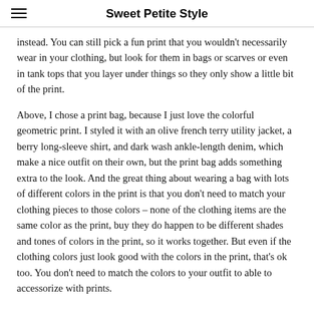Sweet Petite Style
instead. You can still pick a fun print that you wouldn't necessarily wear in your clothing, but look for them in bags or scarves or even in tank tops that you layer under things so they only show a little bit of the print.
Above, I chose a print bag, because I just love the colorful geometric print. I styled it with an olive french terry utility jacket, a berry long-sleeve shirt, and dark wash ankle-length denim, which make a nice outfit on their own, but the print bag adds something extra to the look. And the great thing about wearing a bag with lots of different colors in the print is that you don't need to match your clothing pieces to those colors – none of the clothing items are the same color as the print, buy they do happen to be different shades and tones of colors in the print, so it works together. But even if the clothing colors just look good with the colors in the print, that's ok too. You don't need to match the colors to your outfit to able to accessorize with prints.